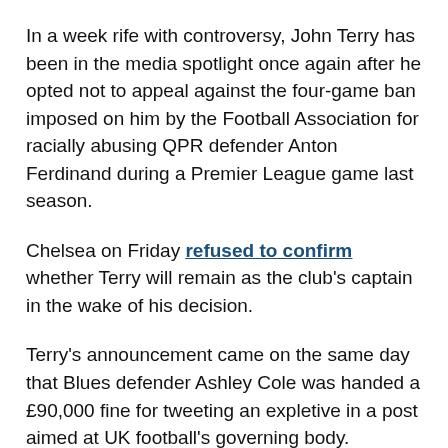In a week rife with controversy, John Terry has been in the media spotlight once again after he opted not to appeal against the four-game ban imposed on him by the Football Association for racially abusing QPR defender Anton Ferdinand during a Premier League game last season.
Chelsea on Friday refused to confirm whether Terry will remain as the club's captain in the wake of his decision.
Terry's announcement came on the same day that Blues defender Ashley Cole was handed a £90,000 fine for tweeting an expletive in a post aimed at UK football's governing body.